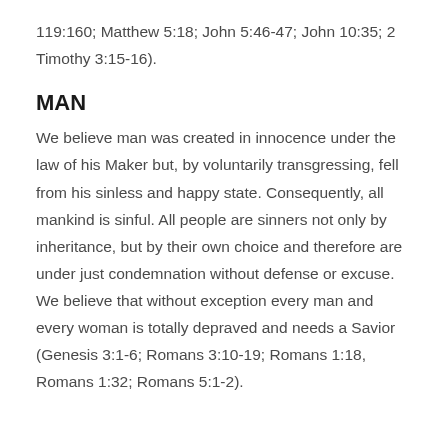119:160; Matthew 5:18; John 5:46-47; John 10:35; 2 Timothy 3:15-16).
MAN
We believe man was created in innocence under the law of his Maker but, by voluntarily transgressing, fell from his sinless and happy state. Consequently, all mankind is sinful. All people are sinners not only by inheritance, but by their own choice and therefore are under just condemnation without defense or excuse. We believe that without exception every man and every woman is totally depraved and needs a Savior (Genesis 3:1-6; Romans 3:10-19; Romans 1:18, Romans 1:32; Romans 5:1-2).